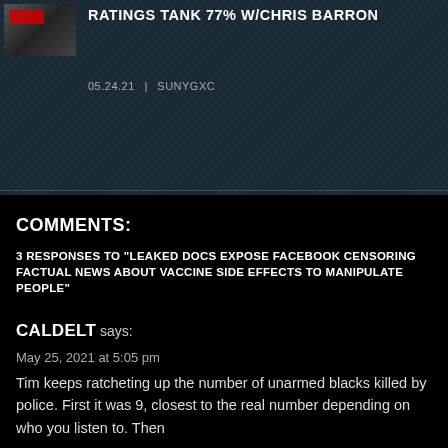RATINGS TANK 77% W/CHRIS BARRON
05.24.21 | SUNYGXC
COMMENTS:
3 RESPONSES TO "LEAKED DOCS EXPOSE FACEBOOK CENSORING FACTUAL NEWS ABOUT VACCINE SIDE EFFECTS TO MANIPULATE PEOPLE"
CALDELT says:
May 25, 2021 at 5:05 pm
Tim keeps ratcheting up the number of unarmed blacks killed by police. First it was 9, closest to the real number depending on who you listen to. Then